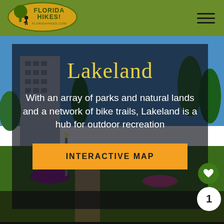[Figure (logo): Florida Hikes! logo — yellow-green oval with tree and hiker silhouette, text 'FLORIDA HIKES!' in dark green, 'floridahikes.com' below]
[Figure (photo): Outdoor park scene in Lakeland, Florida — city skyline building in background, green trees, flowering plants, blue sky. Dark semi-transparent overlay box containing title and description text.]
Lakeland
With an array of parks and natural lands and a network of bike trails, Lakeland is a hub for outdoor recreation
INTERACTIVE MAP